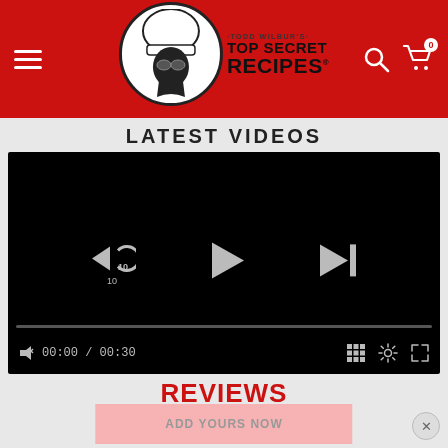Todd Wilbur's Top Secret Recipes
LATEST VIDEOS
[Figure (screenshot): Video player showing a black screen with playback controls: rewind 10s, play, and skip buttons in center; progress bar; bottom bar with mute icon, time 00:00 / 00:30, grid, settings, and fullscreen icons.]
REVIEWS
There are no reviews for this product yet...
ADD YOURS NOW